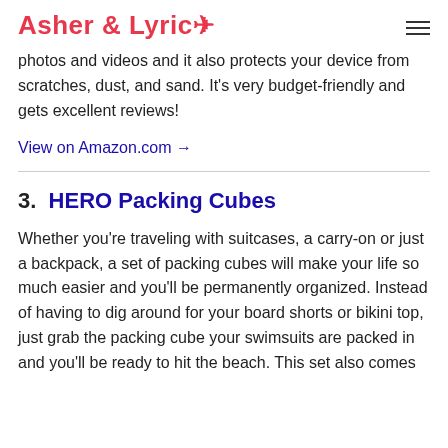Asher & Lyric
photos and videos and it also protects your device from scratches, dust, and sand. It’s very budget-friendly and gets excellent reviews!
View on Amazon.com →
3.  HERO Packing Cubes
Whether you’re traveling with suitcases, a carry-on or just a backpack, a set of packing cubes will make your life so much easier and you’ll be permanently organized. Instead of having to dig around for your board shorts or bikini top, just grab the packing cube your swimsuits are packed in and you’ll be ready to hit the beach. This set also comes